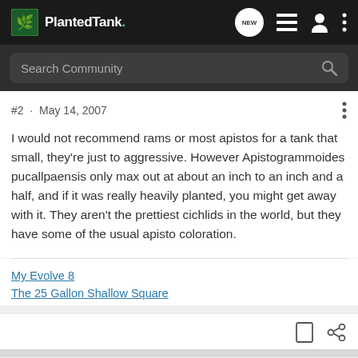[Figure (screenshot): PlantedTank.net navigation bar with logo, NEW chat bubble icon, list icon, user icon, and three-dot menu icon on dark background]
[Figure (screenshot): Dark search bar with placeholder text 'Search Community' and magnifying glass icon]
#2 · May 14, 2007
I would not recommend rams or most apistos for a tank that small, they're just to aggressive. However Apistogrammoides pucallpaensis only max out at about an inch to an inch and a half, and if it was really heavily planted, you might get away with it. They aren't the prettiest cichlids in the world, but they have some of the usual apisto coloration.
My Evolve 8
The 25 Gallon Shallow Square